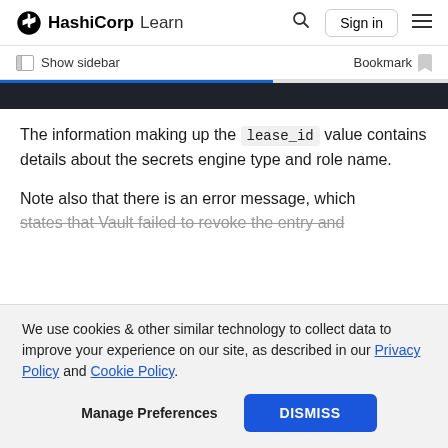HashiCorp Learn — Sign in
Show sidebar  Bookmark
[Figure (screenshot): Dark code block strip at top of content area]
The information making up the lease_id value contains details about the secrets engine type and role name.
Note also that there is an error message, which states that Vault failed to revoke the entry and
We use cookies & other similar technology to collect data to improve your experience on our site, as described in our Privacy Policy and Cookie Policy.
Manage Preferences  DISMISS